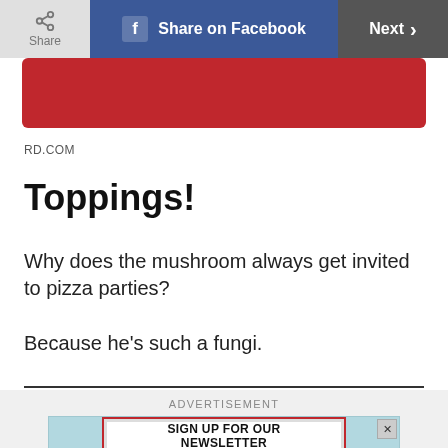[Figure (screenshot): Top navigation bar with Share button, Share on Facebook button (blue), and Next button (dark grey)]
[Figure (photo): Red banner strip]
RD.COM
Toppings!
Why does the mushroom always get invited to pizza parties?

Because he’s such a fungi.
[Figure (other): Advertisement banner: SIGN UP FOR OUR NEWSLETTER]